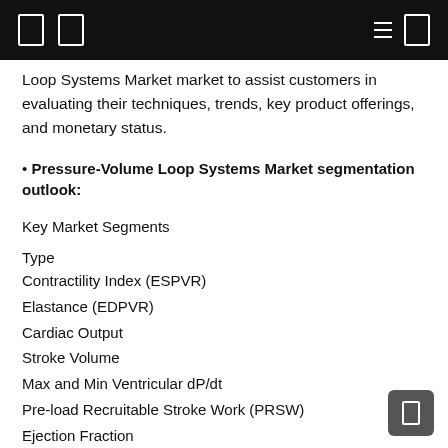Loop Systems Market market to assist customers in evaluating their techniques, trends, key product offerings, and monetary status.
• Pressure-Volume Loop Systems Market segmentation outlook:
Key Market Segments
Type
Contractility Index (ESPVR)
Elastance (EDPVR)
Cardiac Output
Stroke Volume
Max and Min Ventricular dP/dt
Pre-load Recruitable Stroke Work (PRSW)
Ejection Fraction